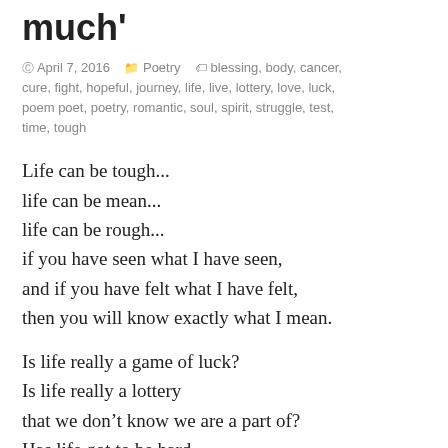much'
April 7, 2016   Poetry   blessing, body, cancer, cure, fight, hopeful, journey, life, live, lottery, love, luck, poem poet, poetry, romantic, soul, spirit, struggle, test, time, tough
Life can be tough...
life can be mean...
life can be rough...
if you have seen what I have seen,
and if you have felt what I have felt,
then you will know exactly what I mean.

Is life really a game of luck?
Is life really a lottery
that we don't know we are a part of?
Has life got to be hard